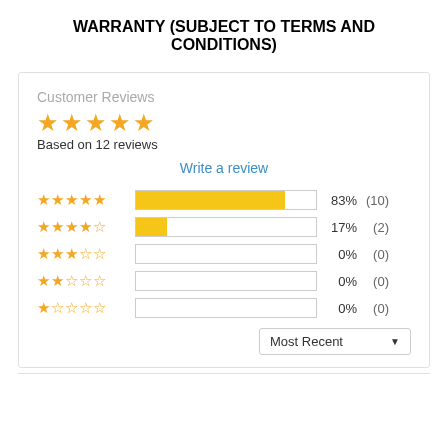WARRANTY (SUBJECT TO TERMS AND CONDITIONS)
Customer Reviews
★★★★★ Based on 12 reviews
Write a review
[Figure (bar-chart): Rating distribution]